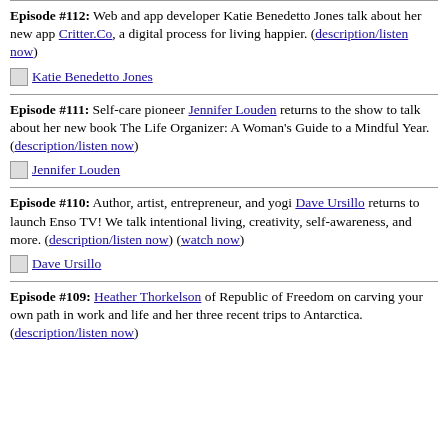Episode #112: Web and app developer Katie Benedetto Jones talk about her new app Critter.Co, a digital process for living happier. (description/listen now)
[Figure (photo): Thumbnail image of Katie Benedetto Jones]
Episode #111: Self-care pioneer Jennifer Louden returns to the show to talk about her new book The Life Organizer: A Woman's Guide to a Mindful Year. (description/listen now)
[Figure (photo): Thumbnail image of Jennifer Louden]
Episode #110: Author, artist, entrepreneur, and yogi Dave Ursillo returns to launch Enso TV! We talk intentional living, creativity, self-awareness, and more. (description/listen now) (watch now)
[Figure (photo): Thumbnail image of Dave Ursillo]
Episode #109: Heather Thorkelson of Republic of Freedom on carving your own path in work and life and her three recent trips to Antarctica. (description/listen now)